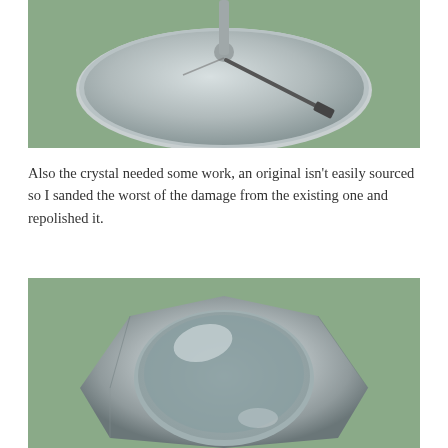[Figure (photo): Close-up photo of a circular metal disc (watch movement component) on a green background, with a central stem/spindle and a thin metal lever or rod extending diagonally across the disc surface.]
Also the crystal needed some work, an original isn't easily sourced so I sanded the worst of the damage from the existing one and repolished it.
[Figure (photo): Close-up photo of a polished silver watch crystal retaining ring/bezel ring on a green background, showing a faceted octagonal-style ring viewed from above.]